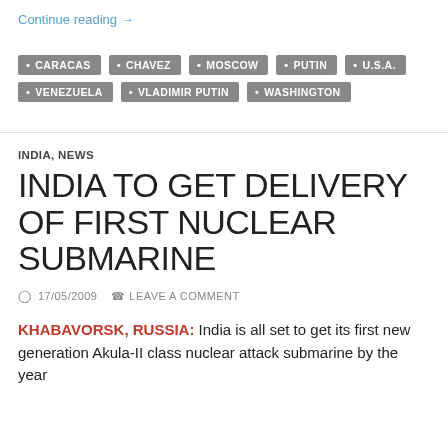Continue reading →
CARACAS
CHAVEZ
MOSCOW
PUTIN
U.S.A.
VENEZUELA
VLADIMIR PUTIN
WASHINGTON
INDIA, NEWS
INDIA TO GET DELIVERY OF FIRST NUCLEAR SUBMARINE
17/05/2009   LEAVE A COMMENT
KHABAVORSK, RUSSIA:  India is all set to get its first new generation Akula-II class nuclear attack submarine by the year